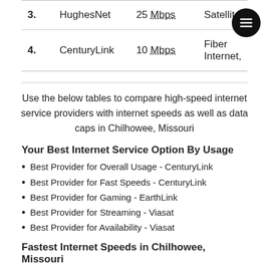| # | Provider | Speed | Type |
| --- | --- | --- | --- |
| 3. | HughesNet | 25 Mbps | Satellite |
| 4. | CenturyLink | 10 Mbps | Fiber Internet, |
Use the below tables to compare high-speed internet service providers with internet speeds as well as data caps in Chilhowee, Missouri
Your Best Internet Service Option By Usage
Best Provider for Overall Usage - CenturyLink
Best Provider for Fast Speeds - CenturyLink
Best Provider for Gaming - EarthLink
Best Provider for Streaming - Viasat
Best Provider for Availability - Viasat
Fastest Internet Speeds in Chilhowee, Missouri